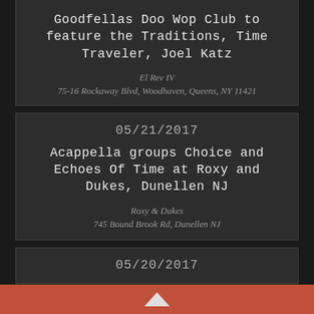Goodfellas Doo Wop Club to feature the Traditions, Time Traveler, Joel Katz
El Rev IV
75-16 Rockaway Blvd, Woodhaven, Queens, NY 11421
05/21/2017
Acappella groups Choice and Echoes Of Time at Roxy and Dukes, Dunellen NJ
Roxy & Dukes
745 Bound Brook Rd, Dunellen NJ
05/20/2017